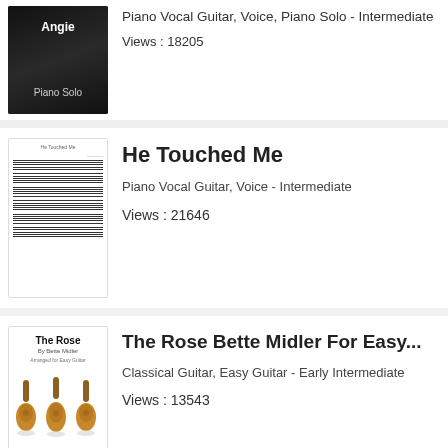[Figure (photo): Angie Piano Solo sheet music cover with dark background showing person at piano]
Piano Vocal Guitar, Voice, Piano Solo - Intermediate
Views : 18205
[Figure (photo): He Touched Me sheet music cover showing musical notation]
He Touched Me
Piano Vocal Guitar, Voice - Intermediate
Views : 21646
[Figure (photo): The Rose cover showing three acoustic guitars]
The Rose Bette Midler For Easy...
Classical Guitar, Easy Guitar - Early Intermediate
Views : 13543
[Figure (photo): Apollo 11 launch scene from film]
Apollo 11 Launch From The Film...